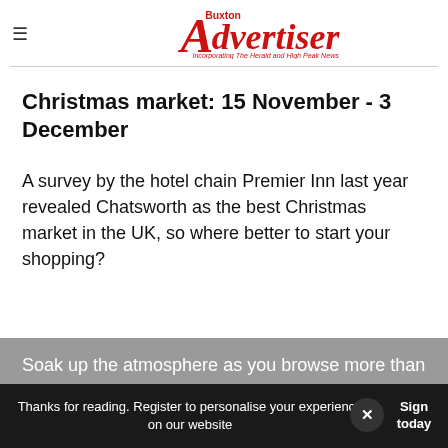Buxton Advertiser — Incorporating The Herald and High Peak News
Christmas market: 15 November - 3 December
A survey by the hotel chain Premier Inn last year revealed Chatsworth as the best Christmas market in the UK, so where better to start your shopping?
Soak up the atmosphere as you browse more than 100 stalls, set on Lodge Hill, next to the
Thanks for reading. Register to personalise your experience on our website